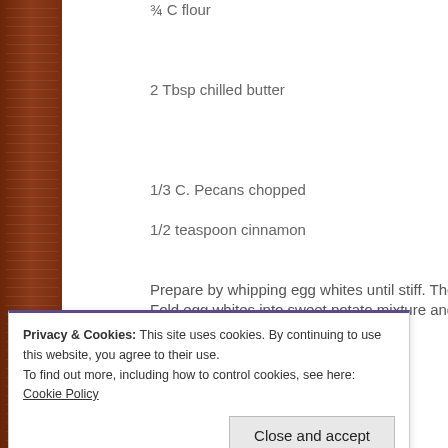¾ C flour
2 Tbsp chilled butter
1/3 C. Pecans chopped
1/2  teaspoon cinnamon
Prepare by  whipping egg whites until stiff. Then take the first six in... Fold egg whites into sweet potato mixture and spread evenly in a 13...
Privacy & Cookies: This site uses cookies. By continuing to use this website, you agree to their use.
To find out more, including how to control cookies, see here: Cookie Policy
Close and accept